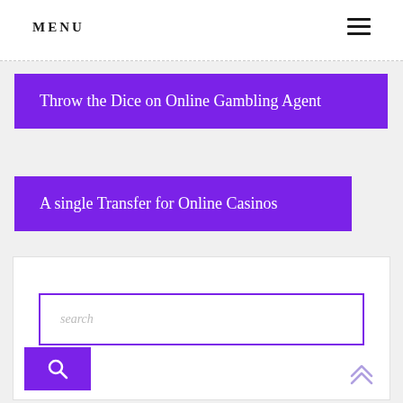MENU
Throw the Dice on Online Gambling Agent
A single Transfer for Online Casinos
[Figure (screenshot): Search box with purple border input field showing placeholder text 'search' and a purple search button with magnifying glass icon below]